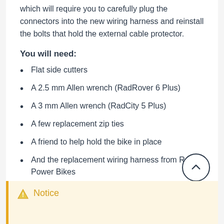which will require you to carefully plug the connectors into the new wiring harness and reinstall the bolts that hold the external cable protector.
You will need:
Flat side cutters
A 2.5 mm Allen wrench (RadRover 6 Plus)
A 3 mm Allen wrench (RadCity 5 Plus)
A few replacement zip ties
A friend to help hold the bike in place
And the replacement wiring harness from Rad Power Bikes
Notice